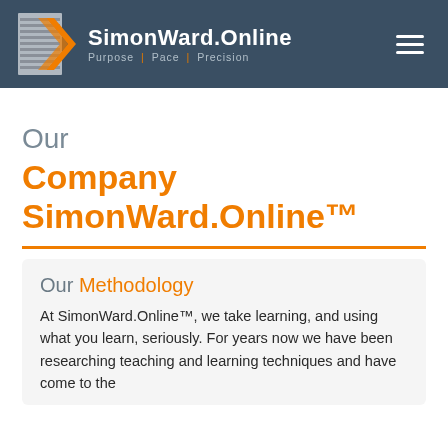SimonWard.Online — Purpose | Pace | Precision
Our Company SimonWard.Online™
Our Methodology
At SimonWard.Online™, we take learning, and using what you learn, seriously. For years now we have been researching teaching and learning techniques and have come to the